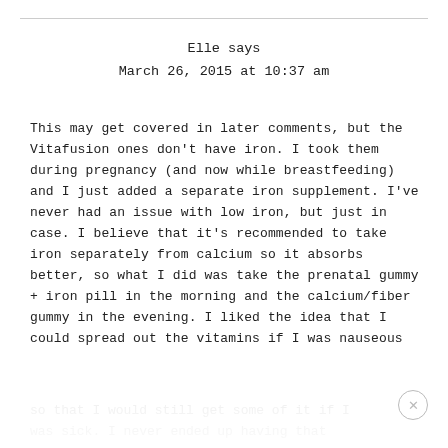Elle says
March 26, 2015 at 10:37 am
This may get covered in later comments, but the Vitafusion ones don't have iron. I took them during pregnancy (and now while breastfeeding) and I just added a separate iron supplement. I've never had an issue with low iron, but just in case. I believe that it's recommended to take iron separately from calcium so it absorbs better, so what I did was take the prenatal gummy + iron pill in the morning and the calcium/fiber gummy in the evening. I liked the idea that I could spread out the vitamins if I was nauseous so that I would still get some of it if I was sick. I never ended up having that